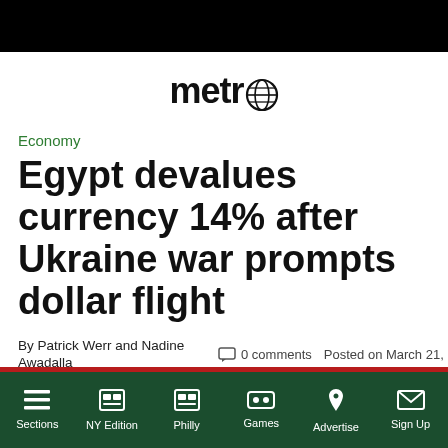metro
Economy
Egypt devalues currency 14% after Ukraine war prompts dollar flight
By Patrick Werr and Nadine Awadalla
0 comments   Posted on March 21, 2022
Sections  NY Edition  Philly  Games  Advertise  Sign Up